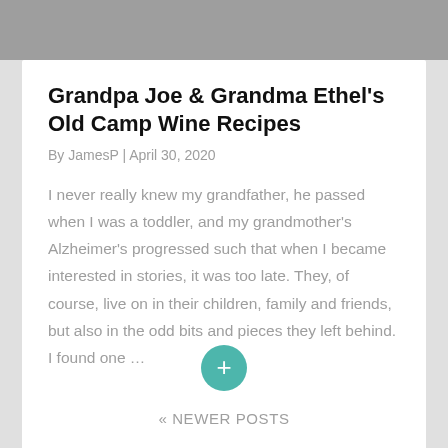[Figure (other): Gray top bar area with partial circular icons visible]
Grandpa Joe & Grandma Ethel's Old Camp Wine Recipes
By JamesP | April 30, 2020
I never really knew my grandfather, he passed when I was a toddler, and my grandmother's Alzheimer's progressed such that when I became interested in stories, it was too late. They, of course, live on in their children, family and friends, but also in the odd bits and pieces they left behind. I found one …
[Figure (other): Teal/green circular button with plus sign]
« NEWER POSTS